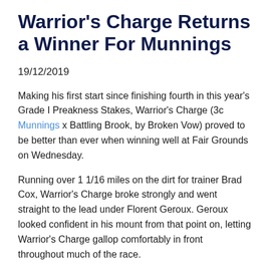Warrior's Charge Returns a Winner For Munnings
19/12/2019
Making his first start since finishing fourth in this year's Grade I Preakness Stakes, Warrior's Charge (3c Munnings x Battling Brook, by Broken Vow) proved to be better than ever when winning well at Fair Grounds on Wednesday.
Running over 1 1/16 miles on the dirt for trainer Brad Cox, Warrior's Charge broke strongly and went straight to the lead under Florent Geroux. Geroux looked confident in his mount from that point on, letting Warrior's Charge gallop comfortably in front throughout much of the race.
Warrior's Charge was challenged as they entered the stretch and had to find another gear to repel Gun It (Tanit)